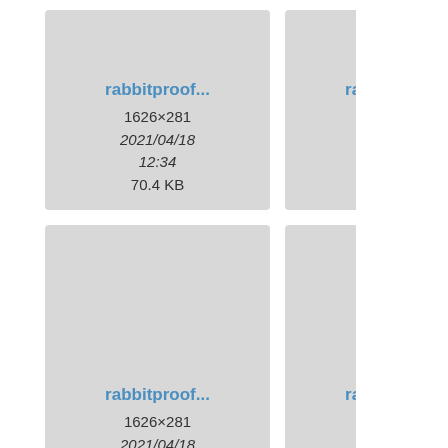[Figure (screenshot): File browser grid showing image thumbnails with filenames starting with 'rabbitproof...' and metadata including dimensions 1626x281, date 2021/04/18 12:34, and file sizes 70.4 KB, 70.5 KB, 70.6 KB, 70.8 KB, 71.6 KB, 74 KB]
rabbitproof... 1626×281 2021/04/18 12:34 70.4 KB
rabbitproof... 1626×281 2021/04/18 12:34 70.5 KB
rabbitproof... 1626×281 2021/04/18 12:34 70.6 KB
rabbitproof... 1626×281 2021/04/18 12:34 70.8 KB
rabbitproof... 1626×281 2021/04/18 12:34 71.6 KB
rabbitproof... 1626×281 2021/04/18 12:34 74 KB